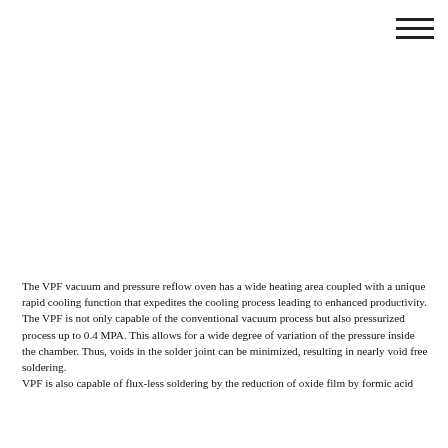[Figure (other): Hamburger menu icon (three horizontal lines) in top-right corner]
The VPF vacuum and pressure reflow oven has a wide heating area coupled with a unique rapid cooling function that expedites the cooling process leading to enhanced productivity.
The VPF is not only capable of the conventional vacuum process but also pressurized process up to 0.4 MPA. This allows for a wide degree of variation of the pressure inside the chamber. Thus, voids in the solder joint can be minimized, resulting in nearly void free soldering.
VPF is also capable of flux-less soldering by the reduction of oxide film by formic acid